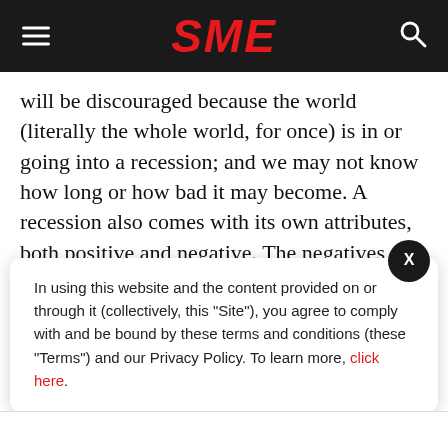SME
will be discouraged because the world (literally the whole world, for once) is in or going into a recession; and we may not know how long or how bad it may become. A recession also comes with its own attributes, both positive and negative. The negatives are apparent, including the fact that most of us will not want to be in one. However, as a starting point to any entrepreneurial journey, let's realise also that some of negatives can be alternatively read in a positive manner. Chief among
In using this website and the content provided on or through it (collectively, this "Site"), you agree to comply with and be bound by these terms and conditions (these "Terms") and our Privacy Policy. To learn more, click here.